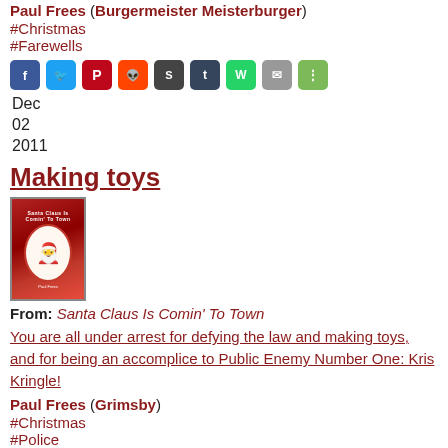Paul Frees (Burgermeister Meisterburger)
#Christmas
#Farewells
[Figure (infographic): Row of social sharing icons: Facebook (blue), Twitter (light blue), Pinterest (red), Reddit (orange), StumbleUpon (dark grey), Tumblr (dark blue-grey), WhatsApp (green), Email (grey), Share (green)]
Dec
02
2011
Making toys
[Figure (photo): DVD cover for Santa Claus Is Comin' To Town showing a small figure in red and white Christmas outfit in an oval frame on a red background]
From: Santa Claus Is Comin' To Town
You are all under arrest for defying the law and making toys, and for being an accomplice to Public Enemy Number One: Kris Kringle!
Paul Frees (Grimsby)
#Christmas
#Police
[Figure (infographic): Row of social sharing icons: Facebook, Twitter, Pinterest, Reddit, StumbleUpon, Tumblr, WhatsApp, Email, Share]